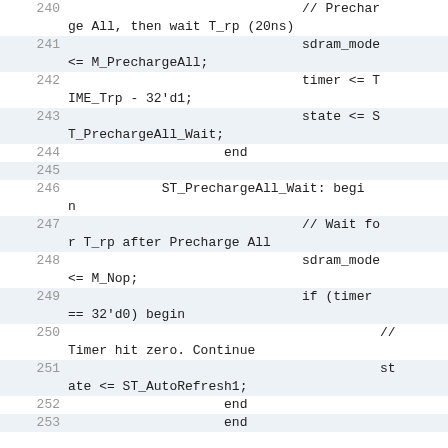[Figure (screenshot): Source code listing in Verilog/HDL showing SDRAM controller state machine logic, lines 240-252+, with alternating shaded rows. Code includes Precharge All state, timer assignments, and ST_PrechargeAll_Wait state handler.]